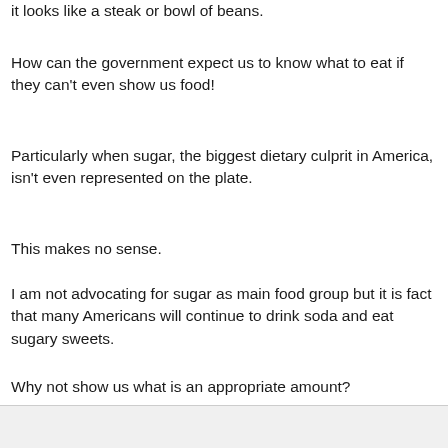it looks like a steak or bowl of beans.
How can the government expect us to know what to eat if they can't even show us food!
Particularly when sugar, the biggest dietary culprit in America, isn't even represented on the plate.
This makes no sense.
I am not advocating for sugar as main food group but it is fact that many Americans will continue to drink soda and eat sugary sweets.
Why not show us what is an appropriate amount?